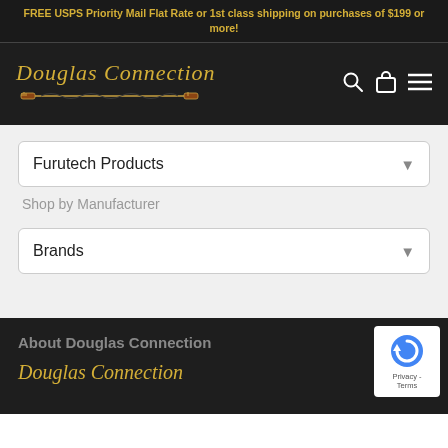FREE USPS Priority Mail Flat Rate or 1st class shipping on purchases of $199 or more!
[Figure (logo): Douglas Connection logo with fishing rod graphic and navigation icons (search, cart, menu)]
Furutech Products
Shop by Manufacturer
Brands
About Douglas Connection
[Figure (logo): Douglas Connection footer logo in gold italic script]
[Figure (other): reCAPTCHA badge: Privacy - Terms]